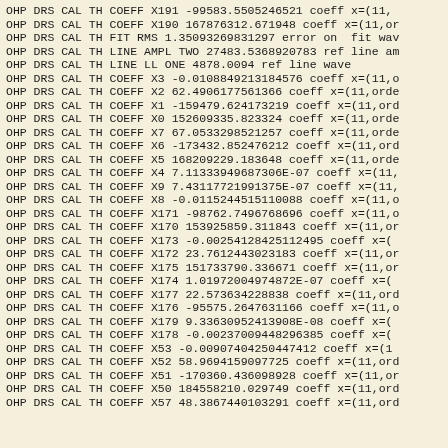OHP DRS CAL TH COEFF X191 -99583.5505246521 coeff x=(11,
OHP DRS CAL TH COEFF X190 167876312.671948 coeff x=(11,or
OHP DRS CAL TH FIT RMS 1.35093269831297 error on fit wav
OHP DRS CAL TH LINE AMPL TWO 27483.5368920783 ref line am
OHP DRS CAL TH LINE LL ONE 4878.0094 ref line wave
OHP DRS CAL TH COEFF X3 -0.0108849213184576 coeff x=(11,o
OHP DRS CAL TH COEFF X2 62.4906177561366 coeff x=(11,orde
OHP DRS CAL TH COEFF X1 -159479.624173219 coeff x=(11,ord
OHP DRS CAL TH COEFF X0 152609335.823324 coeff x=(11,orde
OHP DRS CAL TH COEFF X7 67.0533298521257 coeff x=(11,orde
OHP DRS CAL TH COEFF X6 -173432.852476212 coeff x=(11,ord
OHP DRS CAL TH COEFF X5 168209229.183648 coeff x=(11,orde
OHP DRS CAL TH COEFF X4 7.11333949687306E-07 coeff x=(11,
OHP DRS CAL TH COEFF X9 7.43117721991375E-07 coeff x=(11,
OHP DRS CAL TH COEFF X8 -0.0115244515110088 coeff x=(11,o
OHP DRS CAL TH COEFF X171 -98762.7496768696 coeff x=(11,o
OHP DRS CAL TH COEFF X170 153925859.311843 coeff x=(11,or
OHP DRS CAL TH COEFF X173 -0.00254128425112495 coeff x=(
OHP DRS CAL TH COEFF X172 23.7612443023183 coeff x=(11,or
OHP DRS CAL TH COEFF X175 151733790.336671 coeff x=(11,or
OHP DRS CAL TH COEFF X174 1.01972004974872E-07 coeff x=(
OHP DRS CAL TH COEFF X177 22.573634228838 coeff x=(11,ord
OHP DRS CAL TH COEFF X176 -95575.2647631166 coeff x=(11,o
OHP DRS CAL TH COEFF X179 9.33630952413908E-08 coeff x=(
OHP DRS CAL TH COEFF X178 -0.00237009448296385 coeff x=(
OHP DRS CAL TH COEFF X53 -0.00907404250447412 coeff x=(1
OHP DRS CAL TH COEFF X52 58.9694159097725 coeff x=(11,ord
OHP DRS CAL TH COEFF X51 -170360.436098928 coeff x=(11,or
OHP DRS CAL TH COEFF X50 184558210.029749 coeff x=(11,ord
OHP DRS CAL TH COEFF X57 48.3867440103291 coeff x=(11,ord